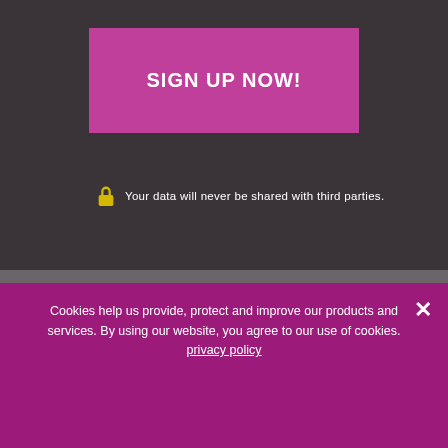[Figure (other): Sign up now button - large magenta/purple button with white bold uppercase text 'SIGN UP NOW!']
Your data will never be shared with third parties.
thank her enough."
by Michelle
more reviews
did you love this page? share it with your friends!
Cookies help us provide, protect and improve our products and services. By using our website, you agree to our use of cookies.
privacy policy